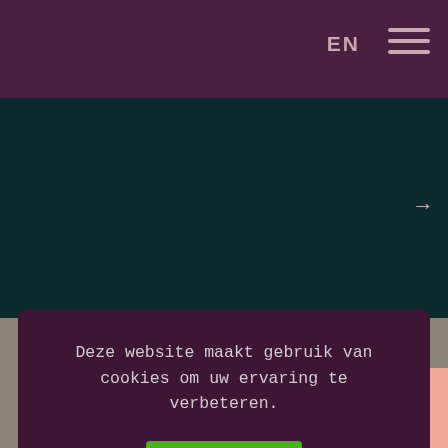EN
[Figure (screenshot): Dark teal background section of a website with a right arrow navigation element]
Deze website maakt gebruik van cookies om uw ervaring te verbeteren.
[Figure (other): Green button labeled Primal]
[Figure (other): Salmon/pink scroll-to-top button with upward arrow]